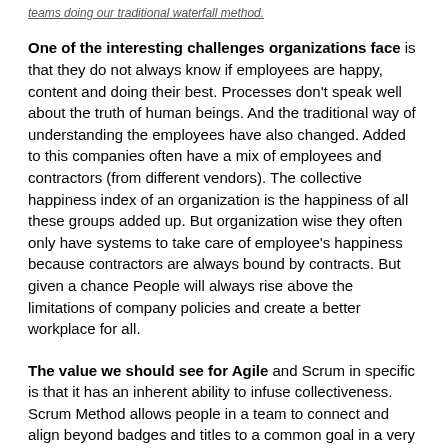teams doing our traditional waterfall method.
One of the interesting challenges organizations face is that they do not always know if employees are happy, content and doing their best. Processes don't speak well about the truth of human beings. And the traditional way of understanding the employees have also changed. Added to this companies often have a mix of employees and contractors (from different vendors). The collective happiness index of an organization is the happiness of all these groups added up. But organization wise they often only have systems to take care of employee's happiness because contractors are always bound by contracts. But given a chance People will always rise above the limitations of company policies and create a better workplace for all.
The value we should see for Agile and Scrum in specific is that it has an inherent ability to infuse collectiveness. Scrum Method allows people in a team to connect and align beyond badges and titles to a common goal in a very close knit environment. If we look we can find that there is more synergy within people working on an Agile project vs. a project in a Traditional Waterfall Method. The sheer commitment to roles and responsibilities over titles.